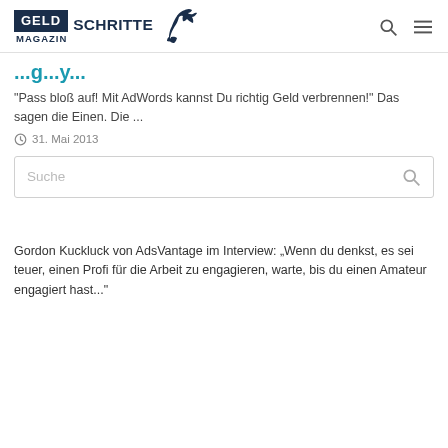GELD SCHRITTE MAGAZIN
...g...y...
"Pass bloß auf! Mit AdWords kannst Du richtig Geld verbrennen!" Das sagen die Einen. Die ...
31. Mai 2013
[Figure (other): Search input box with placeholder 'Suche' and search icon]
Gordon Kuckluck von AdsVantage im Interview: „Wenn du denkst, es sei teuer, einen Profi für die Arbeit zu engagieren, warte, bis du einen Amateur engagiert hast...“